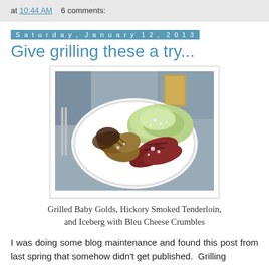at 10:44 AM   6 comments:
Saturday, January 12, 2013
Give grilling these a try...
[Figure (photo): A plate of food featuring Grilled Baby Golds (potatoes), Hickory Smoked Tenderloin slices, and Iceberg lettuce topped with Bleu Cheese Crumbles, served on a white plate on an outdoor table.]
Grilled Baby Golds, Hickory Smoked Tenderloin, and Iceberg with Bleu Cheese Crumbles
I was doing some blog maintenance and found this post from last spring that somehow didn't get published.  Grilling